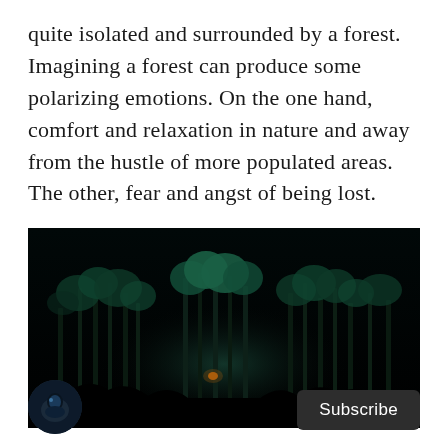quite isolated and surrounded by a forest. Imagining a forest can produce some polarizing emotions. On the one hand, comfort and relaxation in nature and away from the hustle of more populated areas. The other, fear and angst of being lost.
[Figure (photo): A dark cinematic image of a dense forest at night with faint glowing teal-green light illuminating the tall trees and a small structure visible in the middle ground. The scene is very dark with the trees silhouetted against a near-black background.]
[Figure (photo): A circular avatar thumbnail showing a dark sci-fi or fantasy themed image, possibly a character or scene with blue/teal lighting.]
Subscribe